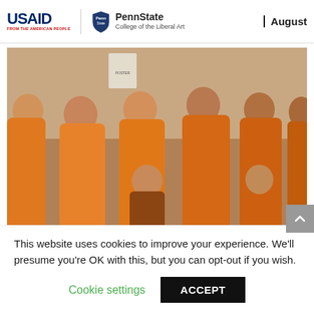USAID FROM THE AMERICAN PEOPLE | PennState College of the Liberal Art | August
[Figure (photo): Group photo of several people wearing matching orange sweatshirts, smiling at the camera in an indoor setting.]
This website uses cookies to improve your experience. We'll presume you're OK with this, but you can opt-out if you wish.
Cookie settings    ACCEPT